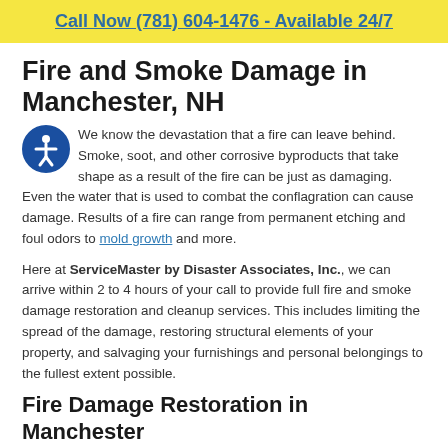Call Now (781) 604-1476 - Available 24/7
Fire and Smoke Damage in Manchester, NH
We know the devastation that a fire can leave behind. Smoke, soot, and other corrosive byproducts that take shape as a result of the fire can be just as damaging. Even the water that is used to combat the conflagration can cause damage. Results of a fire can range from permanent etching and foul odors to mold growth and more.
Here at ServiceMaster by Disaster Associates, Inc., we can arrive within 2 to 4 hours of your call to provide full fire and smoke damage restoration and cleanup services. This includes limiting the spread of the damage, restoring structural elements of your property, and salvaging your furnishings and personal belongings to the fullest extent possible.
Fire Damage Restoration in Manchester